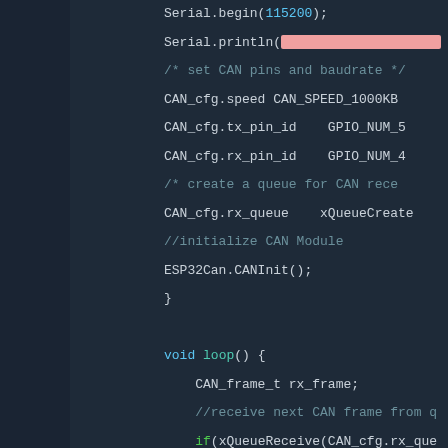[Figure (screenshot): Code editor screenshot showing Arduino/ESP32 CAN bus code, lines 8-31. Dark theme with syntax highlighting. Shows Serial.begin, Serial.println, CAN configuration settings, loop function with CAN frame receive logic.]